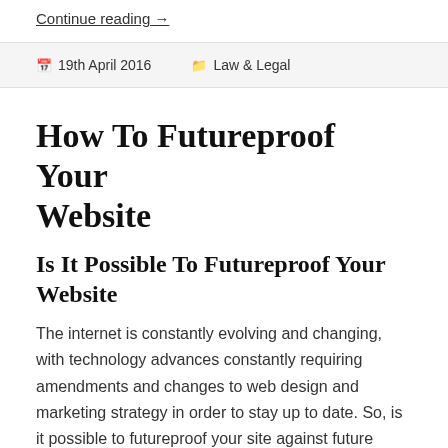Continue reading →
19th April 2016   Law & Legal
How To Futureproof Your Website
Is It Possible To Futureproof Your Website
The internet is constantly evolving and changing, with technology advances constantly requiring amendments and changes to web design and marketing strategy in order to stay up to date. So, is it possible to futureproof your site against future changes?